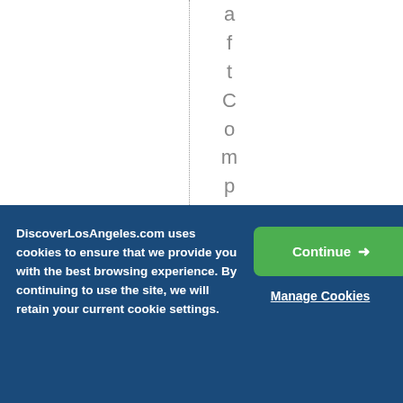[Figure (other): White background with a vertical dotted line and vertical text reading 'aftCompanyopened i' running downward on the right side]
DiscoverLosAngeles.com uses cookies to ensure that we provide you with the best browsing experience. By continuing to use the site, we will retain your current cookie settings.
Continue →
Manage Cookies